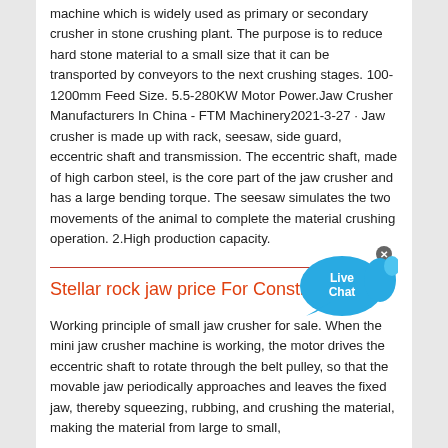machine which is widely used as primary or secondary crusher in stone crushing plant. The purpose is to reduce hard stone material to a small size that it can be transported by conveyors to the next crushing stages. 100-1200mm Feed Size. 5.5-280KW Motor Power.Jaw Crusher Manufacturers In China - FTM Machinery2021-3-27 · Jaw crusher is made up with rack, seesaw, side guard, eccentric shaft and transmission. The eccentric shaft, made of high carbon steel, is the core part of the jaw crusher and has a large bending torque. The seesaw simulates the two movements of the animal to complete the material crushing operation. 2.High production capacity.
[Figure (other): Live Chat button with blue speech bubble shapes and white text]
Stellar rock jaw price For Construction
Working principle of small jaw crusher for sale. When the mini jaw crusher machine is working, the motor drives the eccentric shaft to rotate through the belt pulley, so that the movable jaw periodically approaches and leaves the fixed jaw, thereby squeezing, rubbing, and crushing the material, making the material from large to small,